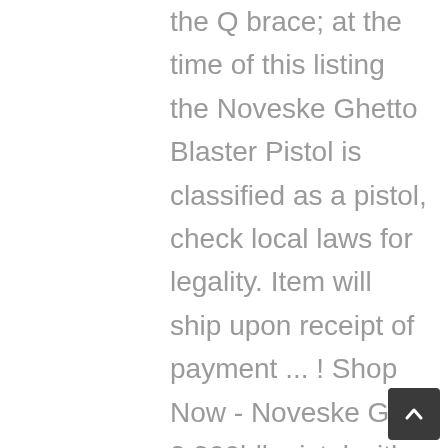the Q brace; at the time of this listing the Noveske Ghetto Blaster Pistol is classified as a pistol, check local laws for legality. Item will ship upon receipt of payment ... ! Shop Now - Noveske Gen 3 300blk pistol with SBA3 brace, MBUS Pro sights, 8" 1:7 SS barrel, NHR-7 handguard in Bazooka Green Cerakote with KX5 And that color is hard to get. Add to Wishlist + Out of stock. Save 15% MSRP: $ 139.40 $ 118.40. Login for Special Pricing. Out of ... The